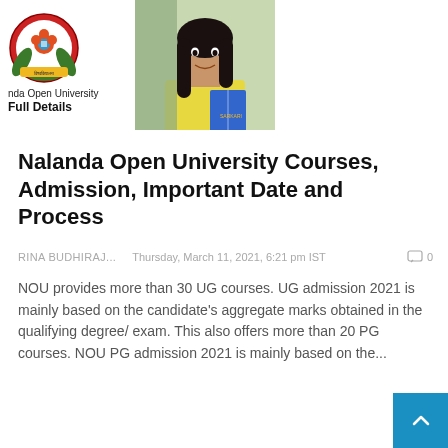[Figure (photo): University logo (Nalanda Open University emblem) at top left with text 'nda Open University' and 'Full Details' below it, alongside a photo of a smiling female student holding books]
Nalanda Open University Courses, Admission, Important Date and Process
RINA BUDHIRAJ...    Thursday, March 11, 2021, 6:21 pm IST    0
NOU provides more than 30 UG courses. UG admission 2021 is mainly based on the candidate's aggregate marks obtained in the qualifying degree/ exam. This also offers more than 20 PG courses. NOU PG admission 2021 is mainly based on the...
EXAM